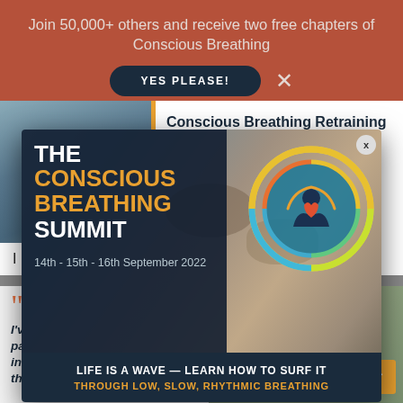Join 50,000+ others and receive two free chapters of Conscious Breathing
YES PLEASE!
[Figure (screenshot): Background page content showing a person's face on left, text 'Conscious Breathing Retraining has almost' on right with orange border]
I have s... than I've done in...
[Figure (illustration): The Conscious Breathing Summit modal popup with ocean/rocks background image, dark navy overlay, logo circle on right, date 14th-15th-16th September 2022, and footer text LIFE IS A WAVE — LEARN HOW TO SURF IT THROUGH LOW, SLOW, RHYTHMIC BREATHING]
THE CONSCIOUS BREATHING SUMMIT — 14th - 15th - 16th September 2022
LIFE IS A WAVE — LEARN HOW TO SURF IT
THROUGH LOW, SLOW, RHYTHMIC BREATHING
[Figure (photo): Woman with blonde hair and glasses, quote block reading: I've slept more full nights in the past four weeks than I've done in total in the last 30 years thanks to taped mouth]